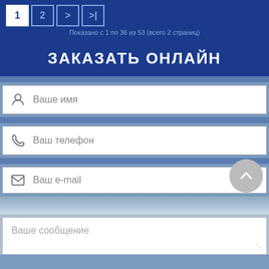1 | 2 | > | >| — Показано с 1 по 36 из 53 (всего 2 страниц)
ЗАКАЗАТЬ ОНЛАЙН
Ваше имя
Ваш телефон
Ваш e-mail
Ваше сообщение